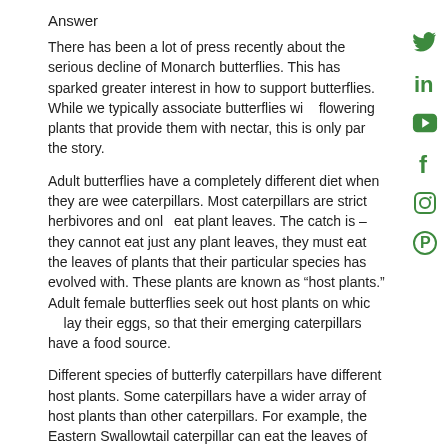Answer
There has been a lot of press recently about the serious decline of Monarch butterflies. This has sparked greater interest in how to support butterflies. While we typically associate butterflies with flowering plants that provide them with nectar, this is only part of the story.
Adult butterflies have a completely different diet when they are wee caterpillars. Most caterpillars are strict herbivores and only eat plant leaves. The catch is – they cannot eat just any plant leaves, they must eat the leaves of plants that their particular species has evolved with. These plants are known as "host plants." Adult female butterflies seek out host plants on which to lay their eggs, so that their emerging caterpillars have a food source.
Different species of butterfly caterpillars have different host plants. Some caterpillars have a wider array of host plants than other caterpillars. For example, the Eastern Swallowtail caterpillar can eat the leaves of Magnolias, Tulip trees, Cherry trees, Ash trees, Basswood, Willows, etc. In the case of Monarch caterpillars, however, they can only eat the leaves of Milkweed species